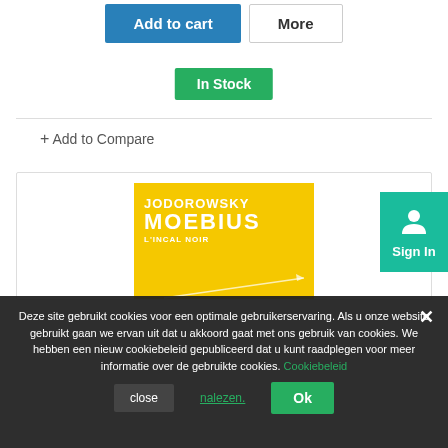[Figure (screenshot): Add to cart and More buttons at top of page]
In Stock
+ Add to Compare
[Figure (photo): Book cover: Jodorowsky Moebius - L'Incal Noir, yellow cover with red figure and arrows]
Sign In
Deze site gebruikt cookies voor een optimale gebruikerservaring. Als u onze website gebruikt gaan we ervan uit dat u akkoord gaat met ons gebruik van cookies. We hebben een nieuw cookiebeleid gepubliceerd dat u kunt raadplegen voor meer informatie over de gebruikte cookies. Cookiebeleid nalezen.
close
nalezen.
Ok